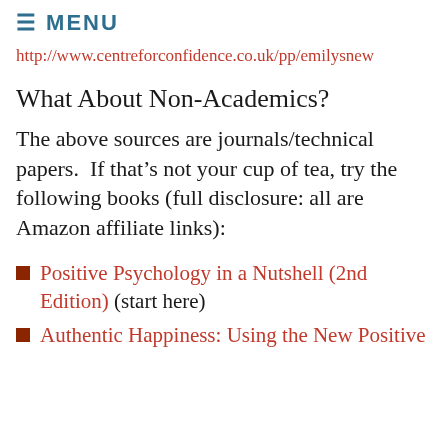≡ MENU
http://www.centreforconfidence.co.uk/pp/emilysnew
What About Non-Academics?
The above sources are journals/technical papers.  If that's not your cup of tea, try the following books (full disclosure: all are Amazon affiliate links):
Positive Psychology in a Nutshell (2nd Edition) (start here)
Authentic Happiness: Using the New Positive Psychology to Realize…